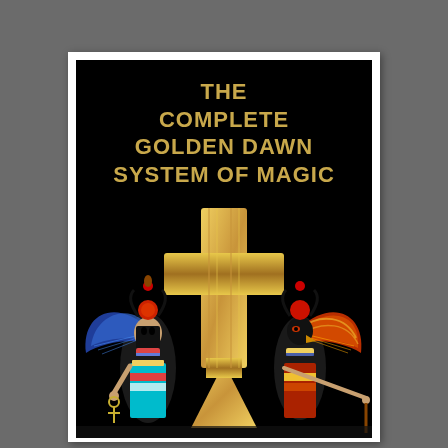[Figure (illustration): Book cover of 'The Complete Golden Dawn System of Magic' with black background. Gold title text at top. Center features a golden ankh/cross symbol. Left side shows an Egyptian goddess figure (Isis) with blue wings, colorful garments, and sun disk headdress. Right side shows another Egyptian deity figure with red and gold wings and falcon headdress. Both figures are in traditional Egyptian art style.]